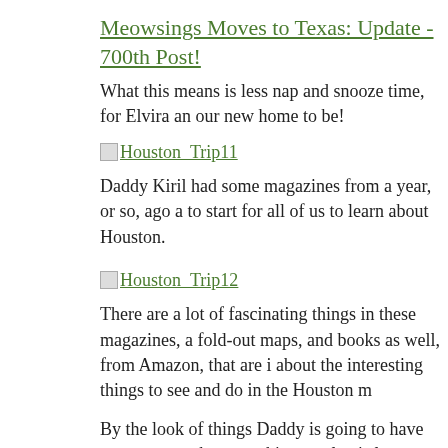Meowsings Moves to Texas: Update - 700th Post!
What this means is less nap and snooze time, for Elvira an our new home to be!
[Figure (photo): Houston_Trip11 image placeholder with link]
Daddy Kiril had some magazines from a year, or so, ago a to start for all of us to learn about Houston.
[Figure (photo): Houston_Trip12 image placeholder with link]
There are a lot of fascinating things in these magazines, a fold-out maps, and books as well, from Amazon, that are i about the interesting things to see and do in the Houston m
By the look of things Daddy is going to have to get us a ne because this complex is larger than our current place and h things for 2 curious cats to see!
A gym, a cyber cafe, several swimming pools, tennis cour probably plenty of stray cats on the grounds unless I miss